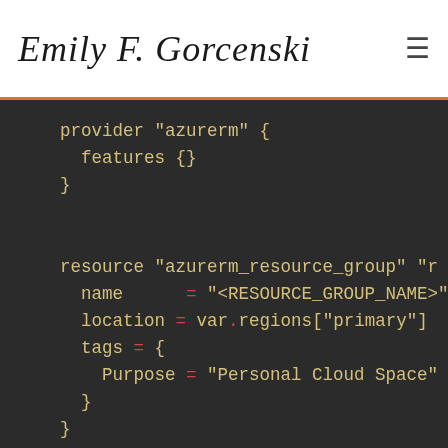Emily F. Gorcenski
[Figure (screenshot): Terraform/HCL code block on dark background showing provider azurerm block, resource azurerm_resource_group block, and beginning of resource azurerm_storage_account block]